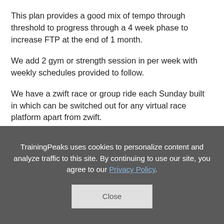This plan provides a good mix of tempo through threshold to progress through a 4 week phase to increase FTP at the end of 1 month.
We add 2 gym or strength session in per week with weekly schedules provided to follow.
We have a zwift race or group ride each Sunday built in which can be switched out for any virtual race platform apart from zwift.
The race certainly isn't essential, some may find doing a virtual group ride more enjoyable and just as chall...
TrainingPeaks uses cookies to personalize content and analyze traffic to this site. By continuing to use our site, you agree to our Privacy Policy.
Close